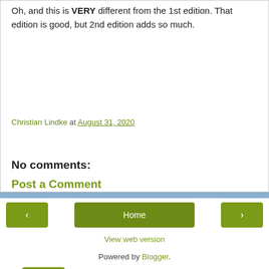Oh, and this is VERY different from the 1st edition. That edition is good, but 2nd edition adds so much.
Christian Lindke at August 31, 2020
Share
No comments:
Post a Comment
‹
Home
›
View web version
Powered by Blogger.